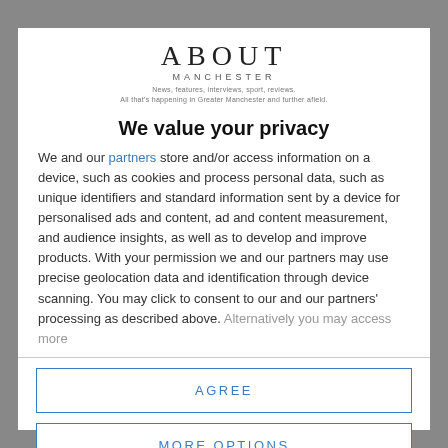[Figure (logo): About Manchester logo with tagline: News, features, interviews, sport, reviews. All that's happening in Greater Manchester and further afield.]
We value your privacy
We and our partners store and/or access information on a device, such as cookies and process personal data, such as unique identifiers and standard information sent by a device for personalised ads and content, ad and content measurement, and audience insights, as well as to develop and improve products. With your permission we and our partners may use precise geolocation data and identification through device scanning. You may click to consent to our and our partners' processing as described above. Alternatively you may access more
AGREE
MORE OPTIONS